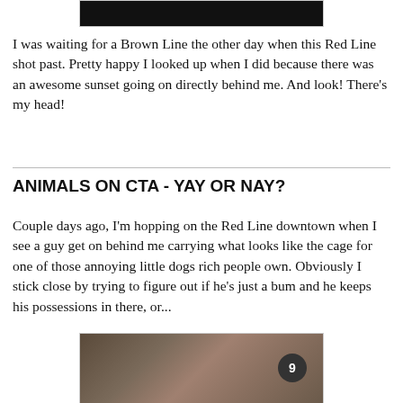[Figure (photo): Dark/black cropped photo at top of page, partially visible]
I was waiting for a Brown Line the other day when this Red Line shot past. Pretty happy I looked up when I did because there was an awesome sunset going on directly behind me. And look! There's my head!
ANIMALS ON CTA - YAY OR NAY?
Couple days ago, I'm hopping on the Red Line downtown when I see a guy get on behind me carrying what looks like the cage for one of those annoying little dogs rich people own. Obviously I stick close by trying to figure out if he's just a bum and he keeps his possessions in there, or...
[Figure (photo): Photo of a man on the train, with a circular badge showing the number 9]